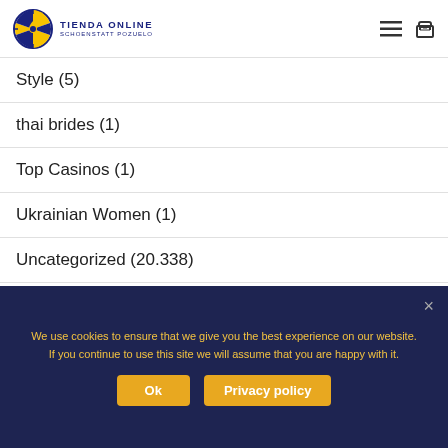TIENDA ONLINE SCHOENSTATT POZUELO
Style (5)
thai brides (1)
Top Casinos (1)
Ukrainian Women (1)
Uncategorized (20.338)
Video Game Rom Download (1)
Video Games Roms (1)
We use cookies to ensure that we give you the best experience on our website. If you continue to use this site we will assume that you are happy with it.